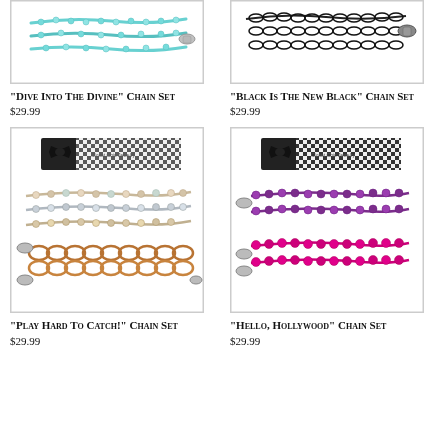[Figure (photo): Teal/aqua beaded chain set with lobster clasp on white background]
"Dive Into The Divine" Chain Set
$29.99
[Figure (photo): Black oval link chain set with lobster clasp on white background]
"Black Is The New Black" Chain Set
$29.99
[Figure (photo): Mixed beaded and copper/gold chain set with houndstooth packaging and black bow]
"Play Hard To Catch!" Chain Set
$29.99
[Figure (photo): Purple and pink/magenta rhinestone beaded chain set with houndstooth packaging and black bow]
"Hello, Hollywood" Chain Set
$29.99